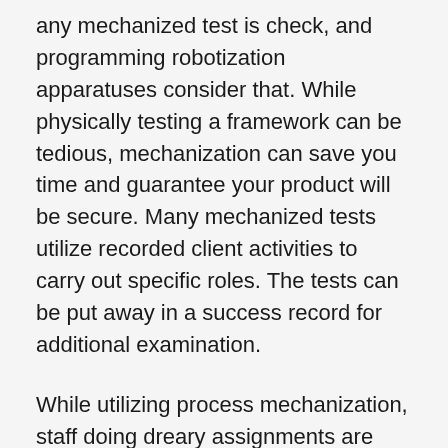any mechanized test is check, and programming robotization apparatuses consider that. While physically testing a framework can be tedious, mechanization can save you time and guarantee your product will be secure. Many mechanized tests utilize recorded client activities to carry out specific roles. The tests can be put away in a success record for additional examination.
While utilizing process mechanization, staff doing dreary assignments are underutilized and not used to their maximum capacity. Via robotizing these cycles, you'll further develop representative fulfillment and accomplish positive business results. Ultimately, programming computerization can assist you with